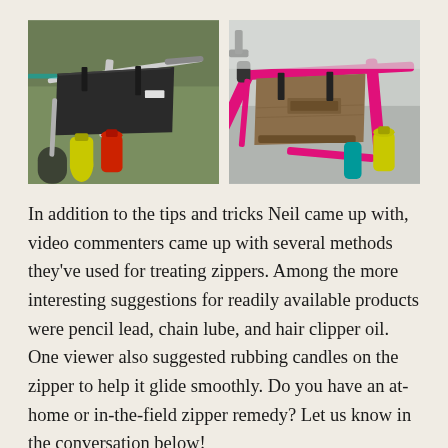[Figure (photo): Two side-by-side photos of bicycle frame bags mounted on bike frames. Left photo shows a black frame bag on a white bicycle frame with yellow and red water bottles visible. Right photo shows a brown/tan frame bag on a bright pink bicycle frame with yellow water bottle visible.]
In addition to the tips and tricks Neil came up with, video commenters came up with several methods they've used for treating zippers. Among the more interesting suggestions for readily available products were pencil lead, chain lube, and hair clipper oil. One viewer also suggested rubbing candles on the zipper to help it glide smoothly. Do you have an at-home or in-the-field zipper remedy? Let us know in the conversation below!